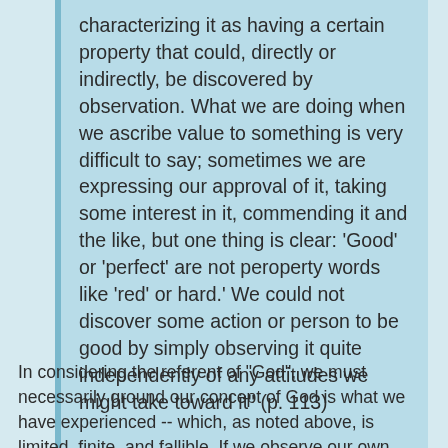characterizing it as having a certain property that could, directly or indirectly, be discovered by observation. What we are doing when we ascribe value to something is very difficult to say; sometimes we are expressing our approval of it, taking some interest in it, commending it and the like, but one thing is clear: 'Good' or 'perfect' are not peroperty words like 'red' or hard.' We could not discover some action or person to be good by simply observing it quite independently of any attitudes we might take toward it" (p. 113)
In considering the referent of "God", we must necessarily ground our concept of God is what we have experienced -- which, as noted above, is limited, finite, and fallible. If we observe our own finitude and dependency and conceive of a non-dependent, infinite being, how could we know, simply